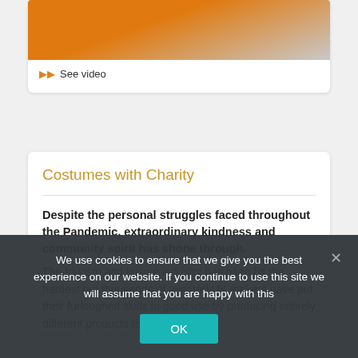[Figure (photo): Partial photo showing orange fabric/material on a light background]
▶▶ See video
Costumes with Charity
Despite the personal struggles faced throughout the Pandemic, extraordinary kindness and community spirit has shone through.
The tourism and leisure industry has been hit the hardest but thousands of talented UK makers have put their furloughed skills to good use by producing entirely different products to
We use cookies to ensure that we give you the best experience on our website. If you continue to use this site we will assume that you are happy with this
OK